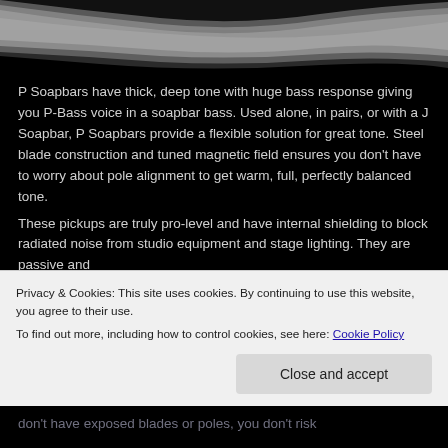[Figure (illustration): Decorative wave/swoosh header graphic in silver and black at the top of the page]
P Soapbars have thick, deep tone with huge bass response giving you P-Bass voice in a soapbar bass. Used alone, in pairs, or with a J Soapbar, P Soapbars provide a flexible solution for great tone. Steel blade construction and tuned magnetic field ensures you don't have to worry about pole alignment to get warm, full, perfectly balanced tone.
These pickups are truly pro-level and have internal shielding to block radiated noise from studio equipment and stage lighting. They are passive and
Privacy & Cookies: This site uses cookies. By continuing to use this website, you agree to their use.
To find out more, including how to control cookies, see here: Cookie Policy
Close and accept
don't have exposed blades or poles, you don't risk